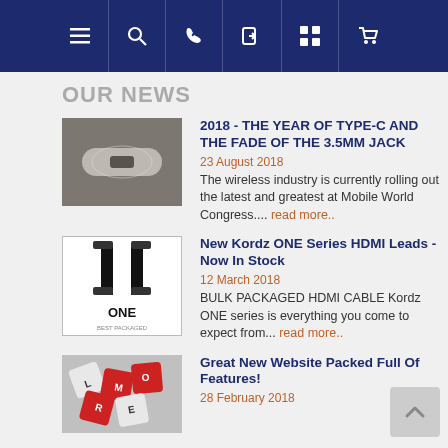Navigation bar with icons: menu, search, phone, login, grid, cart
OUR NEWS
[Figure (photo): Close-up photo of a USB Type-C connector being held]
2018 - THE YEAR OF TYPE-C AND THE FADE OF THE 3.5MM JACK
23 August 2018
The wireless industry is currently rolling out the latest and greatest at Mobile World Congress.... read more..
[Figure (photo): Product image of Kordz ONE Series HDMI cables with ONE branding]
New Kordz ONE Series HDMI Leads - Now In Stock
12 March 2018
BULK PACKAGED HDMI CABLE Kordz ONE series is everything you come to expect from... read more..
[Figure (photo): Scrabble-like tiles showing MORE letters on a red background]
Great New Website Packed Full Of Features!
28 February 2018